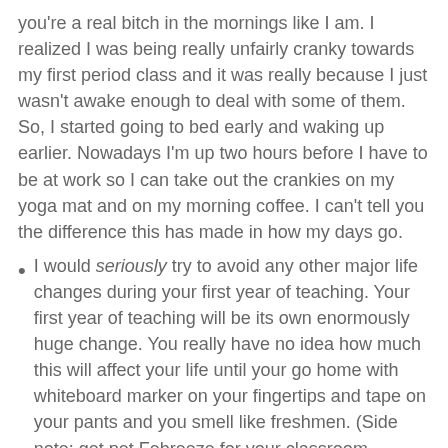you're a real bitch in the mornings like I am. I realized I was being really unfairly cranky towards my first period class and it was really because I just wasn't awake enough to deal with some of them. So, I started going to bed early and waking up earlier. Nowadays I'm up two hours before I have to be at work so I can take out the crankies on my yoga mat and on my morning coffee. I can't tell you the difference this has made in how my days go.
I would seriously try to avoid any other major life changes during your first year of teaching. Your first year of teaching will be its own enormously huge change. You really have no idea how much this will affect your life until your go home with whiteboard marker on your fingertips and tape on your pants and you smell like freshmen. (Side note: get pet Febreeze for your classroom, especially if you share students with the P.E. teacher.)